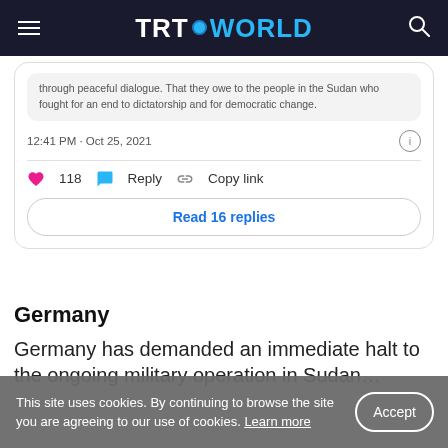TRT WORLD
through peaceful dialogue. That they owe to the people in the Sudan who fought for an end to dictatorship and for democratic change.
12:41 PM · Oct 25, 2021
118  Reply  Copy link
Read 16 replies
Germany
Germany has demanded an immediate halt to the [ongoing military operation in Sudan…]
This site uses cookies. By continuing to browse the site you are agreeing to our use of cookies. Learn more
Accept